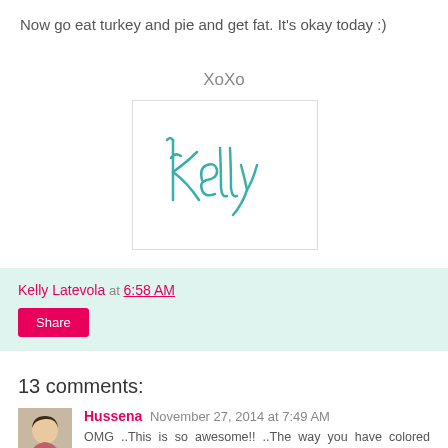Now go eat turkey and pie and get fat. It's okay today :)
XoXo
[Figure (illustration): Handwritten cursive signature reading 'Kelly' in teal/turquoise ink on white background with light border]
Kelly Latevola at 6:58 AM
Share
13 comments:
Hussena November 27, 2014 at 7:49 AM
OMG ..This is so awesome!! ..The way you have colored these adorable digi's is just perfection !..Love your card!!..And Wishing you and your family a very Happy Thanksgiving :)